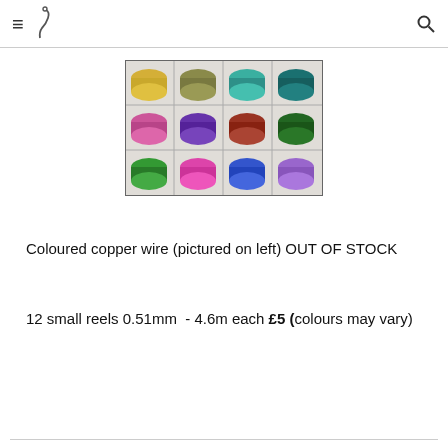≡ [logo icon] [search icon]
[Figure (photo): A plastic organizer tray containing 12 small spools of coloured copper wire arranged in a 4x3 grid. The spools include metallic gold, olive/khaki, teal, dark teal (top row), pink/magenta, purple, brown/red, dark green (middle row), and green, pink, blue, light purple (bottom row).]
Coloured copper wire (pictured on left) OUT OF STOCK
12 small reels 0.51mm  - 4.6m each £5 (colours may vary)